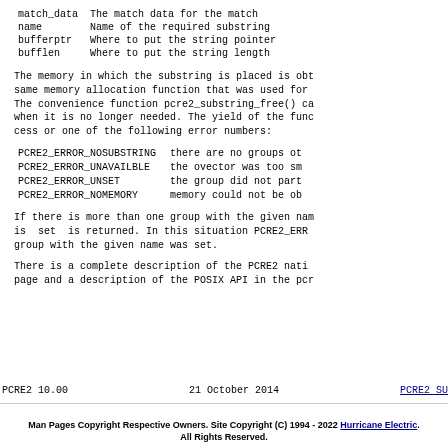| match_data | The match data for the match |
| name | Name of the required substring |
| bufferptr | Where to put the string pointer |
| bufflen | Where to put the string length |
The memory in which the substring is placed is obt same memory allocation function that was used for The convenience function pcre2_substring_free() ca when it is no longer needed. The yield of the func cess or one of the following error numbers:
| PCRE2_ERROR_NOSUBSTRING | there are no groups ot |
| PCRE2_ERROR_UNAVAILBLE | the ovector was too sm |
| PCRE2_ERROR_UNSET | the group did not part |
| PCRE2_ERROR_NOMEMORY | memory could not be ob |
If there is more than one group with the given nam is set is returned. In this situation PCRE2_ERRO group with the given name was set.
There is a complete description of the PCRE2 nati page and a description of the POSIX API in the pcr
PCRE2 10.00    21 October 2014    PCRE2 SU
Man Pages Copyright Respective Owners. Site Copyright (C) 1994 - 2022 Hurricane Electric. All Rights Reserved.